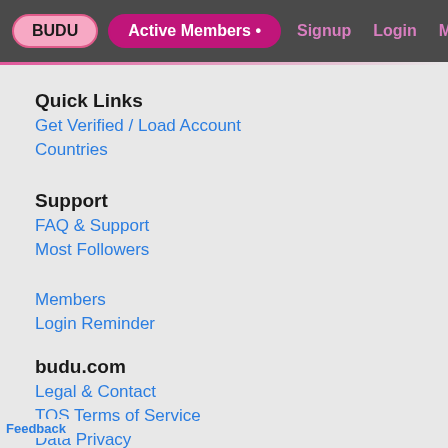BUDU | Active Members • | Signup | Login | Members | Dating
Quick Links
Get Verified / Load Account
Countries
Support
FAQ & Support
Most Followers
Members
Login Reminder
budu.com
Legal & Contact
TOS Terms of Service
Data Privacy
Feedback